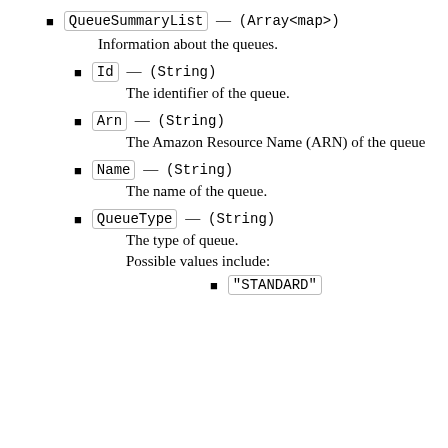QueueSummaryList — (Array<map>)
Information about the queues.
Id — (String)
The identifier of the queue.
Arn — (String)
The Amazon Resource Name (ARN) of the queue.
Name — (String)
The name of the queue.
QueueType — (String)
The type of queue.
Possible values include:
"STANDARD"